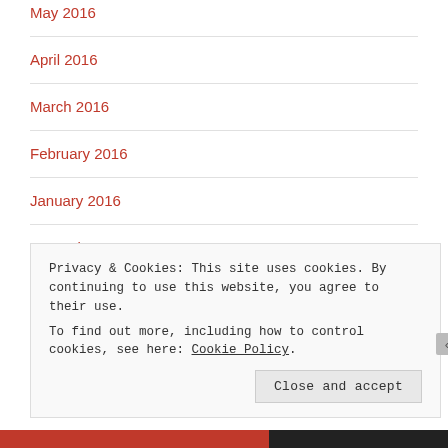May 2016
April 2016
March 2016
February 2016
January 2016
December 2015
Privacy & Cookies: This site uses cookies. By continuing to use this website, you agree to their use.
To find out more, including how to control cookies, see here: Cookie Policy
Close and accept